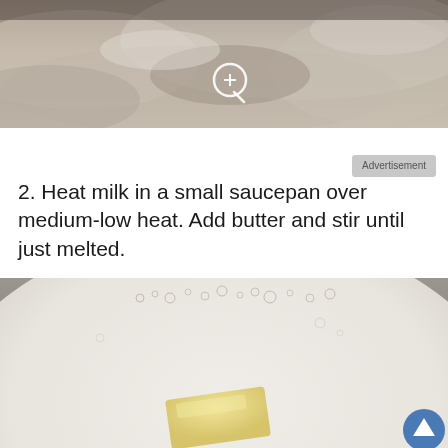[Figure (photo): Close-up photo of flour or powdery substance in a bowl with a magnify/zoom icon overlay]
Advertisement
2. Heat milk in a small saucepan over medium-low heat. Add butter and stir until just melted.
[Figure (photo): Photo of milk in a saucepan with a pat of butter beginning to melt, viewed from above]